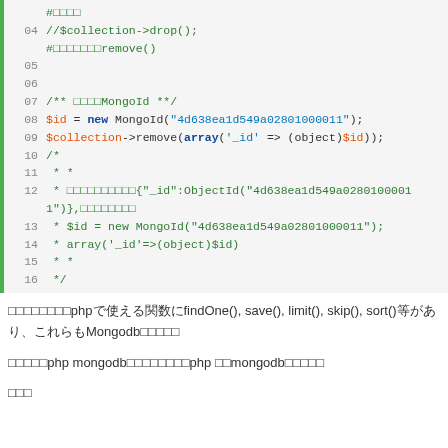[Figure (screenshot): PHP code snippet showing MongoDB operations with line numbers 04-16, syntax highlighted in green, orange, blue and dark blue colors]
さらに他にもphpで使える関数にfindOne(), save(), limit(), skip(), sort()等があり、これらもMongodb公式参照
今回は簡単にphp mongodb連携について紹介しましたphp でmongodb使う場合参照
参考文